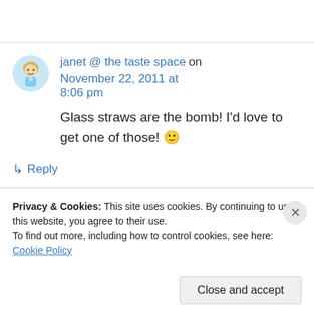janet @ the taste space on November 22, 2011 at 8:06 pm
Glass straws are the bomb! I'd love to get one of those! 🙂
↳ Reply
Privacy & Cookies: This site uses cookies. By continuing to use this website, you agree to their use. To find out more, including how to control cookies, see here: Cookie Policy
Close and accept